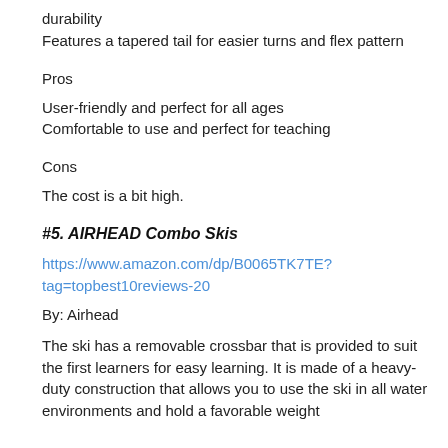durability
Features a tapered tail for easier turns and flex pattern
Pros
User-friendly and perfect for all ages
Comfortable to use and perfect for teaching
Cons
The cost is a bit high.
#5. AIRHEAD Combo Skis
https://www.amazon.com/dp/B0065TK7TE?tag=topbest10reviews-20
By: Airhead
The ski has a removable crossbar that is provided to suit the first learners for easy learning. It is made of a heavy-duty construction that allows you to use the ski in all water environments and hold a favorable weight